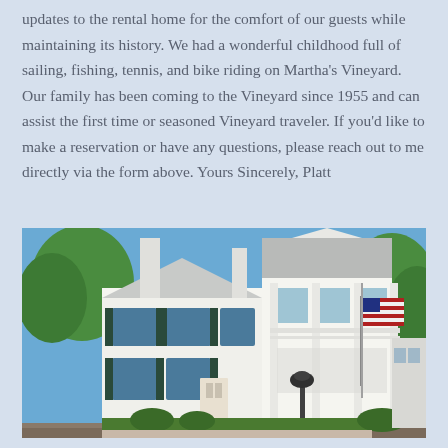updates to the rental home for the comfort of our guests while maintaining its history. We had a wonderful childhood full of sailing, fishing, tennis, and bike riding on Martha's Vineyard. Our family has been coming to the Vineyard since 1955 and can assist the first time or seasoned Vineyard traveler. If you'd like to make a reservation or have any questions, please reach out to me directly via the form above. Yours Sincerely, Platt
[Figure (photo): Exterior photo of a large white colonial-style two-story house with dark shutters, a covered porch with columns on the right side, a chimney, an American flag, green shrubs, and trees under a blue sky.]